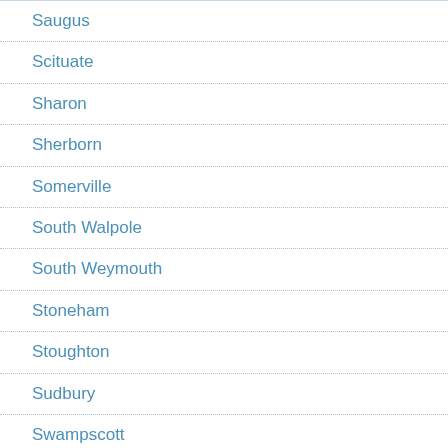Saugus
Scituate
Sharon
Sherborn
Somerville
South Walpole
South Weymouth
Stoneham
Stoughton
Sudbury
Swampscott
Wakefield